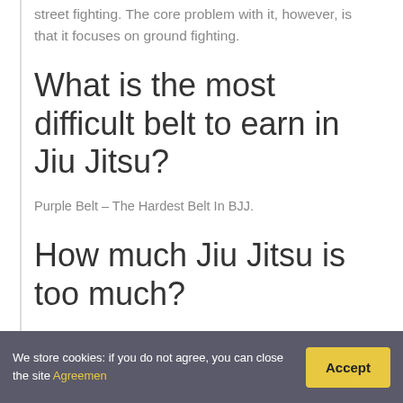street fighting. The core problem with it, however, is that it focuses on ground fighting.
What is the most difficult belt to earn in Jiu Jitsu?
Purple Belt – The Hardest Belt In BJJ.
How much Jiu Jitsu is too much?
So how much is too much? It is generally advised to train at least 2 or 3 times per week if you want to make progress and retain your skills. This is probably a good limit for new students who will need time for their
We store cookies: if you do not agree, you can close the site Agreemen